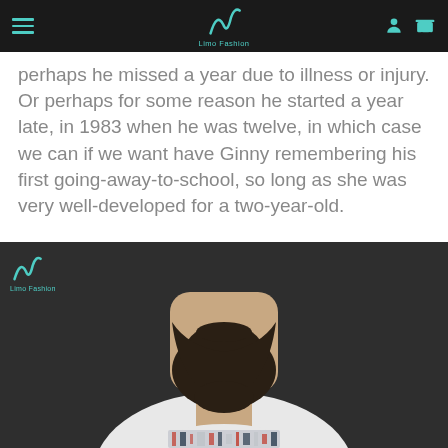Limo Fashion [navigation header with logo, hamburger menu, user icon, cart icon]
perhaps he missed a year due to illness or injury. Or perhaps for some reason he started a year late, in 1983 when he was twelve, in which case we can if we want have Ginny remembering his first going-away-to-school, so long as she was very well-developed for a two-year-old.
[Figure (photo): A bearded man wearing a white t-shirt with a graphic print design on the chest, photographed against a dark background. A Limo Fashion watermark/logo appears in the top-left of the image.]